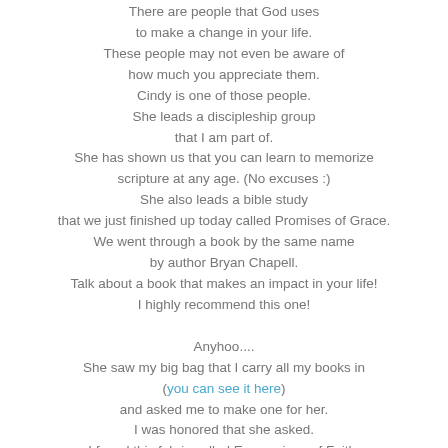There are people that God uses to make a change in your life. These people may not even be aware of how much you appreciate them. Cindy is one of those people. She leads a discipleship group that I am part of. She has shown us that you can learn to memorize scripture at any age. (No excuses :) She also leads a bible study that we just finished up today called Promises of Grace. We went through a book by the same name by author Bryan Chapell. Talk about a book that makes an impact in your life! I highly recommend this one!

Anyhoo.... She saw my big bag that I carry all my books in (you can see it here) and asked me to make one for her. I was honored that she asked. I found this fabric called Expressions of Faith.